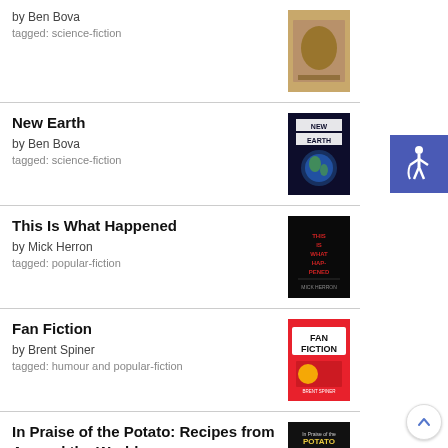by Ben Bova
tagged: science-fiction
New Earth
by Ben Bova
tagged: science-fiction
This Is What Happened
by Mick Herron
tagged: popular-fiction
Fan Fiction
by Brent Spiner
tagged: humour and popular-fiction
In Praise of the Potato: Recipes from Around the World
by Lindsey Bareham
tagged: cooking-drinking and culture
Voodoo Histories: The Role of the Conspiracy Theory in Shaping Modern History
by David Aaronovitch